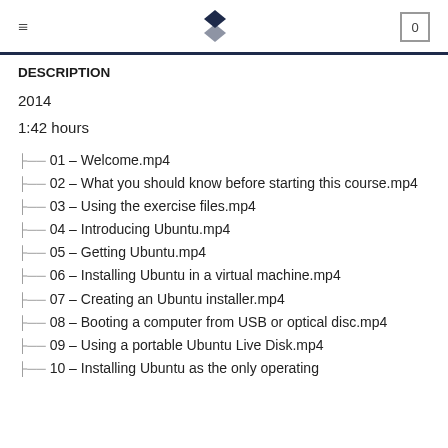≡  [logo]  0
DESCRIPTION
2014
1:42 hours
├── 01 – Welcome.mp4
├── 02 – What you should know before starting this course.mp4
├── 03 – Using the exercise files.mp4
├── 04 – Introducing Ubuntu.mp4
├── 05 – Getting Ubuntu.mp4
├── 06 – Installing Ubuntu in a virtual machine.mp4
├── 07 – Creating an Ubuntu installer.mp4
├── 08 – Booting a computer from USB or optical disc.mp4
├── 09 – Using a portable Ubuntu Live Disk.mp4
├── 10 – Installing Ubuntu as the only operating